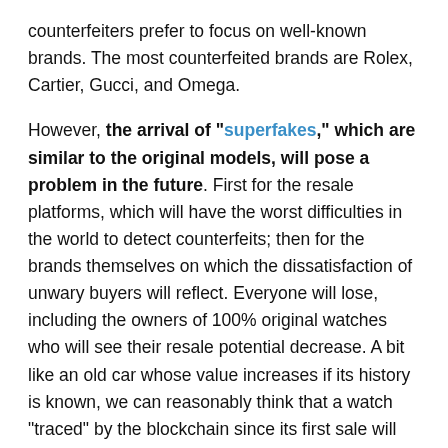counterfeiters prefer to focus on well-known brands. The most counterfeited brands are Rolex, Cartier, Gucci, and Omega.
However, the arrival of "superfakes," which are similar to the original models, will pose a problem in the future. First for the resale platforms, which will have the worst difficulties in the world to detect counterfeits; then for the brands themselves on which the dissatisfaction of unwary buyers will reflect. Everyone will lose, including the owners of 100% original watches who will see their resale potential decrease. A bit like an old car whose value increases if its history is known, we can reasonably think that a watch "traced" by the blockchain since its first sale will eventually be more valuable.
The other argument in favor of blockchain is the possibility of maintaining a direct relationship with